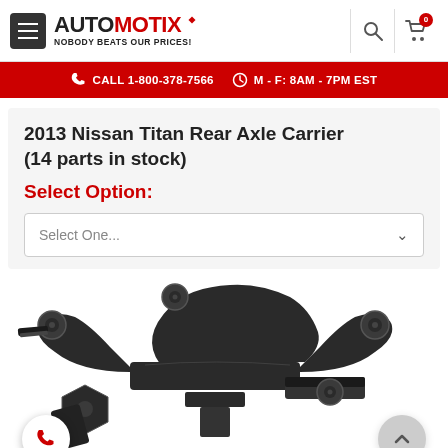AUTOmotix — NOBODY BEATS OUR PRICES!
CALL 1-800-378-7566   M - F: 8AM - 7PM EST
2013 Nissan Titan Rear Axle Carrier (14 parts in stock)
Select Option:
Select One...
[Figure (photo): Photo of a black 2013 Nissan Titan rear axle carrier / subframe assembly on a white background]